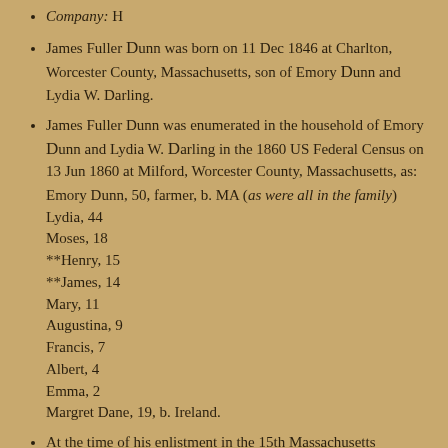Company: H
James Fuller Dunn was born on 11 Dec 1846 at Charlton, Worcester County, Massachusetts, son of Emory Dunn and Lydia W. Darling.
James Fuller Dunn was enumerated in the household of Emory Dunn and Lydia W. Darling in the 1860 US Federal Census on 13 Jun 1860 at Milford, Worcester County, Massachusetts, as:
Emory Dunn, 50, farmer, b. MA (as were all in the family)
Lydia, 44
Moses, 18
**Henry, 15
**James, 14
Mary, 11
Augustina, 9
Francis, 7
Albert, 4
Emma, 2
Margret Dane, 19, b. Ireland.
At the time of his enlistment in the 15th Massachusetts Volunteer Infantry, James gave his occupation as farmer.
In 1862 James was living at Northbridge, Worcester County, Massachusetts.